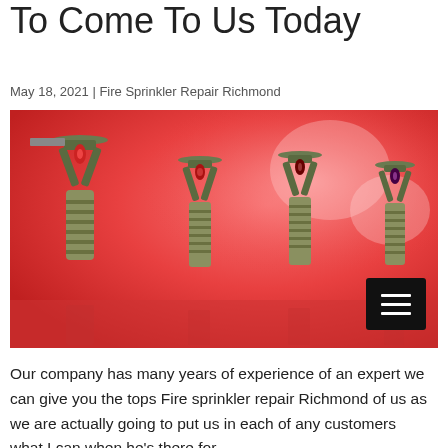To Come To Us Today
May 18, 2021 | Fire Sprinkler Repair Richmond
[Figure (photo): Close-up photo of multiple fire sprinkler heads with green metal bodies and red glass bulbs, set against a blurred red background]
Our company has many years of experience of an expert we can give you the tops Fire sprinkler repair Richmond of us as we are actually going to put us in each of any customers what I can when he's there for